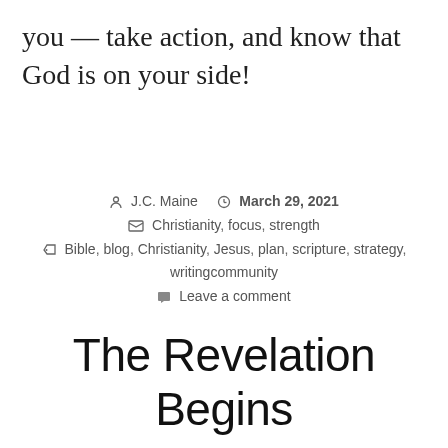you — take action, and know that God is on your side!
J.C. Maine   March 29, 2021
Christianity, focus, strength
Bible, blog, Christianity, Jesus, plan, scripture, strategy, writingcommunity
Leave a comment
The Revelation Begins